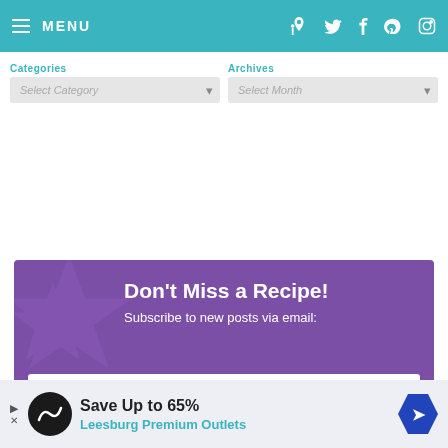MENU — navigation bar with icons
Categories | Archives — Select Category | Select Month dropdowns
Don't Miss a Recipe!
Subscribe to new posts via email:
enter email address
Save Up to 65% — Leesburg Premium Outlets